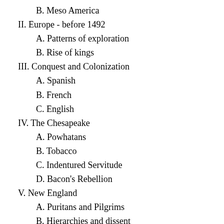B. Meso America
II. Europe - before 1492
A. Patterns of exploration
B. Rise of kings
III. Conquest and Colonization
A. Spanish
B. French
C. English
IV. The Chesapeake
A. Powhatans
B. Tobacco
C. Indentured Servitude
D. Bacon's Rebellion
V. New England
A. Puritans and Pilgrims
B. Hierarchies and dissent
VI. Middle Colonies
A. Mercantilism
B. Plural Societies